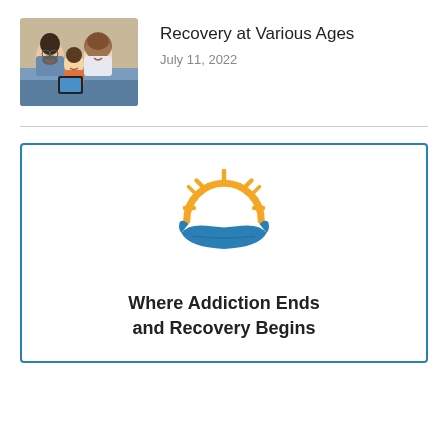[Figure (photo): Family photo showing parents and child smiling together on a couch]
Recovery at Various Ages
July 11, 2022
[Figure (logo): Sun and hand logo icon with orange sun rays and blue cupped hand]
Where Addiction Ends and Recovery Begins